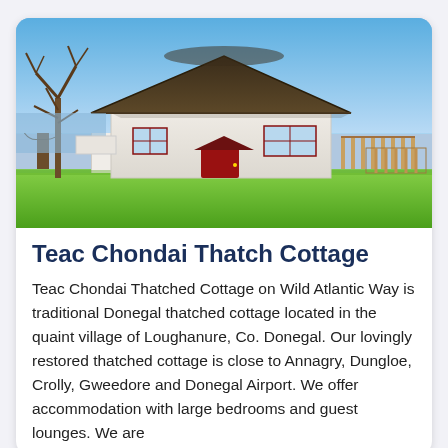[Figure (photo): Photograph of Teac Chondai Thatch Cottage — a white-walled Irish cottage with a dark thatched roof and a red front door, set on a green lawn with bare trees to the left and a wooden fence to the right, under a clear blue sky.]
Teac Chondai Thatch Cottage
Teac Chondai Thatched Cottage on Wild Atlantic Way is traditional Donegal thatched cottage located in the quaint village of Loughanure, Co. Donegal. Our lovingly restored thatched cottage is close to Annagry, Dungloe, Crolly, Gweedore and Donegal Airport. We offer accommodation with large bedrooms and guest lounges. We are